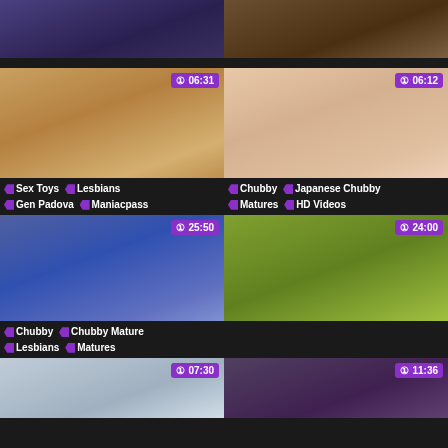[Figure (screenshot): Video thumbnail grid - top left partial thumbnail]
[Figure (screenshot): Video thumbnail grid - top right partial thumbnail]
[Figure (screenshot): Video thumbnail with timer 06:31, tags: Sex Toys, Lesbians, Gen Padova, Maniacpass]
Sex Toys Lesbians Gen Padova Maniacpass
[Figure (screenshot): Video thumbnail with timer 06:12, tags: Chubby, Japanese Chubby, Matures, HD Videos]
Chubby Japanese Chubby Matures HD Videos
[Figure (screenshot): Video thumbnail with timer 25:50, tags: Chubby, Chubby Mature, Lesbians, Matures]
Chubby Chubby Mature Lesbians Matures
[Figure (screenshot): Video thumbnail with timer 24:00]
[Figure (screenshot): Video thumbnail with timer 07:30]
[Figure (screenshot): Video thumbnail with timer 11:36]